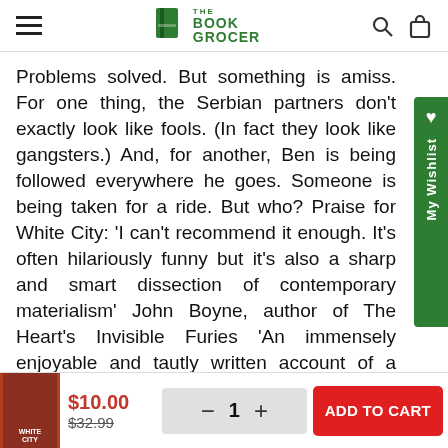The Book Grocer
Problems solved. But something is amiss. For one thing, the Serbian partners don't exactly look like fools. (In fact they look like gangsters.) And, for another, Ben is being followed everywhere he goes. Someone is being taken for a ride. But who? Praise for White City: 'I can't recommend it enough. It's often hilariously funny but it's also a sharp and smart dissection of contemporary materialism' John Boyne, author of The Heart's Invisible Furies 'An immensely enjoyable and tautly written account of a young man from an affluent family whose life of privilege is turned
$10.00  $32.99  − 1 +  ADD TO CART